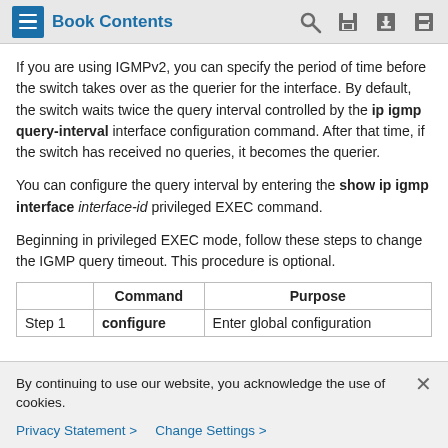Book Contents
If you are using IGMPv2, you can specify the period of time before the switch takes over as the querier for the interface. By default, the switch waits twice the query interval controlled by the ip igmp query-interval interface configuration command. After that time, if the switch has received no queries, it becomes the querier.
You can configure the query interval by entering the show ip igmp interface interface-id privileged EXEC command.
Beginning in privileged EXEC mode, follow these steps to change the IGMP query timeout. This procedure is optional.
|  | Command | Purpose |
| --- | --- | --- |
| Step 1 | configure | Enter global configuration |
By continuing to use our website, you acknowledge the use of cookies.
Privacy Statement > Change Settings >